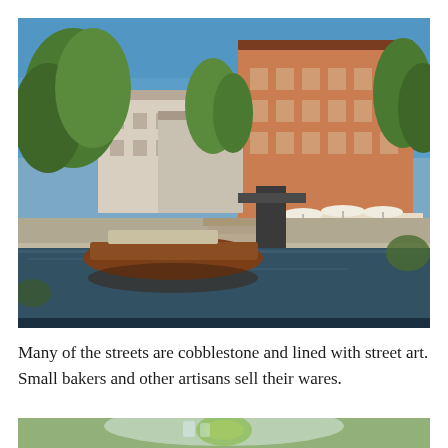[Figure (photo): A river scene in Ljubljana showing a wooden boat moored along the Ljubljanica River embankment. In the background are historic European buildings including a large orange/terracotta multi-story building, smaller cream-colored buildings, lush green trees, outdoor cafe seating with white umbrellas, and stone steps leading down to the water. Blue sky above.]
Many of the streets are cobblestone and lined with street art. Small bakers and other artisans sell their wares.
[Figure (photo): Close-up partial view of a glass containing a drink with ice and a lime/lemon slice, against a blurred green background.]